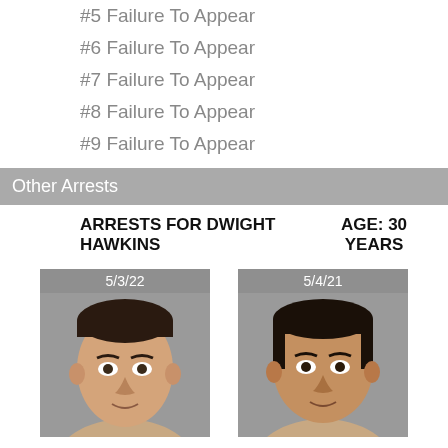#5 Failure To Appear
#6 Failure To Appear
#7 Failure To Appear
#8 Failure To Appear
#9 Failure To Appear
Other Arrests
ARRESTS FOR DWIGHT HAWKINS        AGE: 30 YEARS
[Figure (photo): Mugshot of Dwight Hawkins dated 5/3/22]
[Figure (photo): Mugshot of Dwight Hawkins dated 5/4/21]